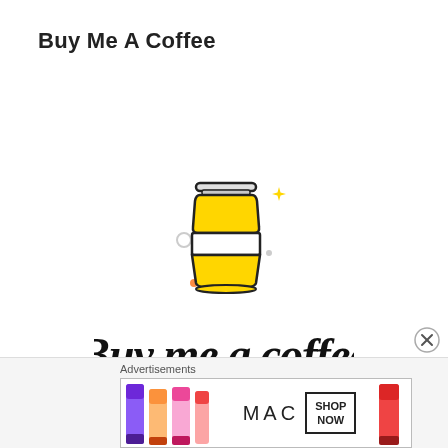Buy Me A Coffee
[Figure (logo): Buy Me A Coffee logo: a yellow takeaway coffee cup with a lid and decorative sparkle stars, with the text 'Buy me a coffee' in handwritten/script font below]
Advertisements
[Figure (illustration): MAC cosmetics advertisement banner showing lipsticks on the left and right, MAC logo in the center, and a 'SHOP NOW' button box]